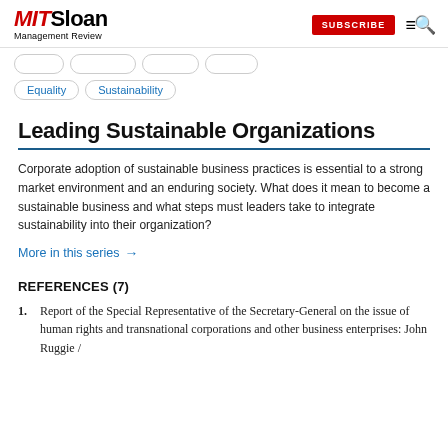MIT Sloan Management Review | SUBSCRIBE
Equality
Sustainability
Leading Sustainable Organizations
Corporate adoption of sustainable business practices is essential to a strong market environment and an enduring society. What does it mean to become a sustainable business and what steps must leaders take to integrate sustainability into their organization?
More in this series →
REFERENCES (7)
1. Report of the Special Representative of the Secretary-General on the issue of human rights and transnational corporations and other business enterprises: John Ruggie /